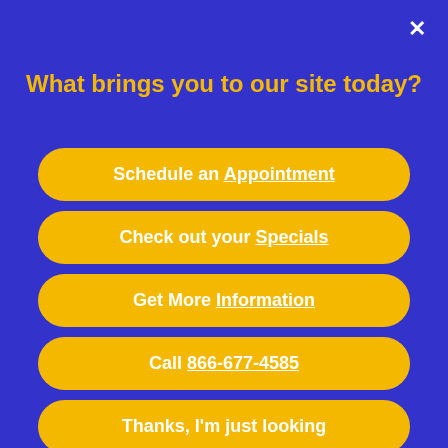What brings you to our site today?
Schedule an Appointment
Check out your Specials
Get More Information
Call 866-677-4585
Thanks, I'm just looking